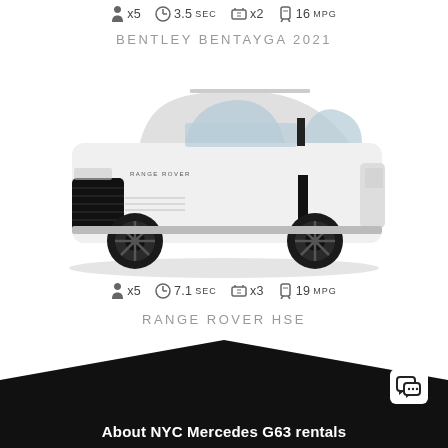x5  3.5SEC  x2  16MPG
BENTLEY BENTAYGA 2021
[Figure (photo): White Range Rover HSE luxury SUV on white background, side-front quarter view with black wheels and trim]
x5  7.1SEC  x3  19MPG
RANGE ROVER HSE
About NYC Mercedes G63 rentals